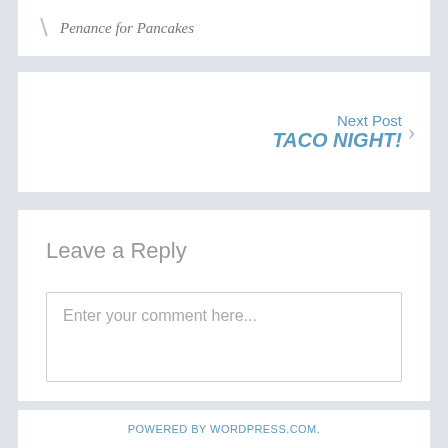Penance for Pancakes
Next Post TACO NIGHT!
Leave a Reply
Enter your comment here...
POWERED BY WORDPRESS.COM.